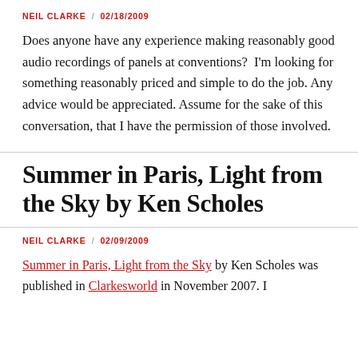NEIL CLARKE / 02/18/2009
Does anyone have any experience making reasonably good audio recordings of panels at conventions?  I'm looking for something reasonably priced and simple to do the job. Any advice would be appreciated. Assume for the sake of this conversation, that I have the permission of those involved.
Summer in Paris, Light from the Sky by Ken Scholes
NEIL CLARKE / 02/09/2009
Summer in Paris, Light from the Sky by Ken Scholes was published in Clarkesworld in November 2007. I...